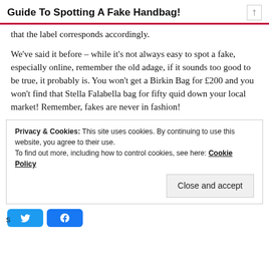Guide To Spotting A Fake Handbag!
that the label corresponds accordingly.
We've said it before – while it's not always easy to spot a fake, especially online, remember the old adage, if it sounds too good to be true, it probably is. You won't get a Birkin Bag for £200 and you won't find that Stella Falabella bag for fifty quid down your local market! Remember, fakes are never in fashion!
Privacy & Cookies: This site uses cookies. By continuing to use this website, you agree to their use. To find out more, including how to control cookies, see here: Cookie Policy
Close and accept